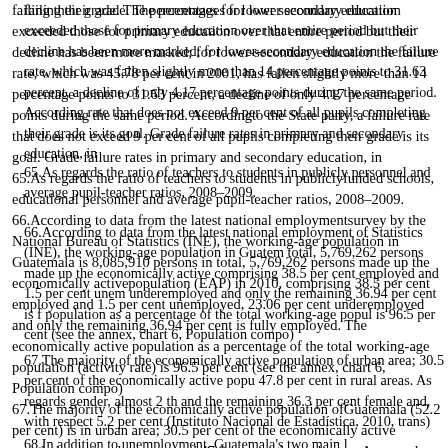failing their grade. The percentages for lower secondary education exceeded those for primary education over that entire period but their decline has been more marked; for lower-secondary education the failure rate, which was 45.78 per cent in 2001, has fallen slightly more than 14 percentage points to 31.63 per cent, a decline of only 4.17 percentage points during the same period. According to the State party, a failure rate that does not exceed 9 per cent of all pupils completing their grade is its goal. Grade failure rates in primary and secondary education, in
65.As regards the ratio of teachers to students in publicly funded schools, educational personnel and average pupil-teacher ratios, 2008–2009.
66.According to data from the latest national employment survey by the National Bureau of Statistics (INE), the working-age population in Guatemala is 8,085,910 persons in total, 5,769,262 persons made up the economically active population (EAP) in 2010, comprising 38.5 per cent employed and 1.5 per cent unemployed, 23.06 per cent underemployed and only the remaining 36.94 per cent is fully employed. The economically active population as a percentage of the total working-age population (activity rate) is 96.5 per cent (see the annex, chart 6, Population compo
67.The majority of the economically active population of Guatemala (52.2 per cent) is in urban area; 30.5 per cent of the economically active population is in urban areas and 47.8 per cent in rural areas. As regards gender, almost 2 thirds are male (63.7 per cent) and the remaining 36.3 per cent female and, with respect to indigenous peoples, it is 5.2 per cent (Instituto Nacional de Estadística, 2010, trans
68.In addition to unemployment, Guatemala's two main l